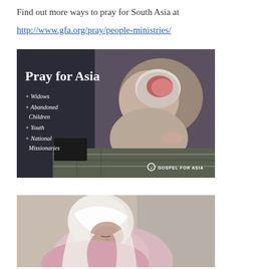Find out more ways to pray for South Asia at
http://www.gfa.org/pray/people-ministries/
[Figure (photo): Gospel for Asia 'Pray for Asia' promotional image showing a woman bowing in prayer on a patterned mat with text listing: Widows, Abandoned Children, Youth, National Missionaries. Gospel for Asia logo in bottom right.]
[Figure (photo): Photo of a woman wearing a white head scarf and pink clothing, with head bowed as if in prayer, against a plain background.]